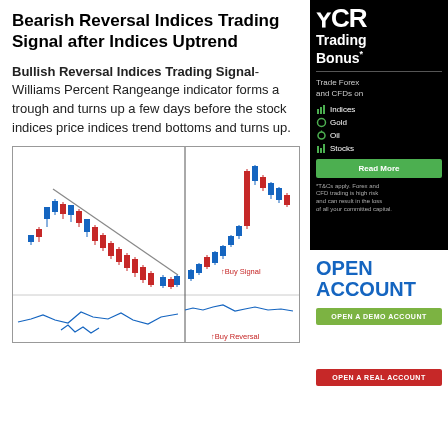Bearish Reversal Indices Trading Signal after Indices Uptrend
Bullish Reversal Indices Trading Signal- Williams Percent Rangeange indicator forms a trough and turns up a few days before the stock indices price indices trend bottoms and turns up.
[Figure (other): Candlestick chart showing bullish reversal trading signal with Williams Percent Range indicator below, marked with Buy Signal and Buy Reversal annotations.]
[Figure (other): Sidebar advertisement for trading platform showing Trading Bonus offer, Trade Forex and CFDs on Indices/Gold/Oil/Stocks, Read More button, Open Account section with Open a Demo Account and Open a Real Account buttons.]